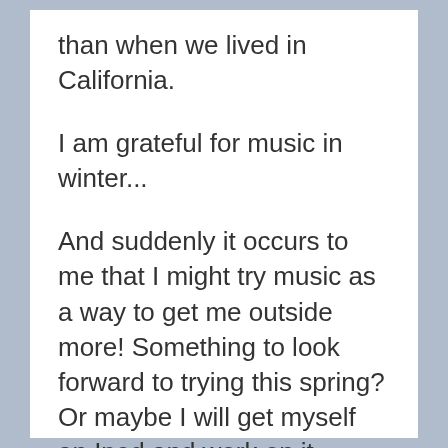than when we lived in California.
I am grateful for music in winter...
And suddenly it occurs to me that I might try music as a way to get me outside more! Something to look forward to trying this spring? Or maybe I will get myself an Ipod and work on it sooner? Hmmm...